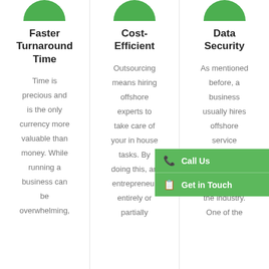Faster Turnaround Time
Time is precious and is the only currency more valuable than money. While running a business can be overwhelming,
Cost-Efficient
Outsourcing means hiring offshore experts to take care of your in house tasks. By doing this, an entrepreneur entirely or partially
Data Security
As mentioned before, a business usually hires offshore service providers with a good reputation in the industry. One of the